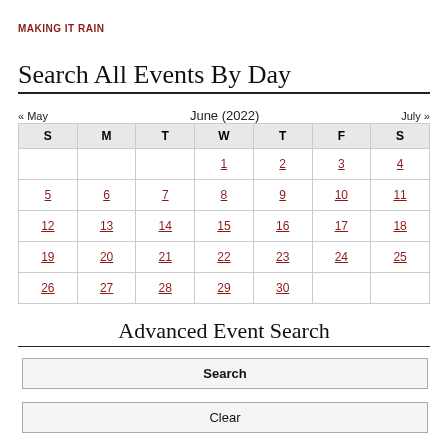MAKING IT RAIN
Search All Events By Day
| S | M | T | W | T | F | S |
| --- | --- | --- | --- | --- | --- | --- |
|  |  |  | 1 | 2 | 3 | 4 |
| 5 | 6 | 7 | 8 | 9 | 10 | 11 |
| 12 | 13 | 14 | 15 | 16 | 17 | 18 |
| 19 | 20 | 21 | 22 | 23 | 24 | 25 |
| 26 | 27 | 28 | 29 | 30 |  |  |
Advanced Event Search
Search
Clear